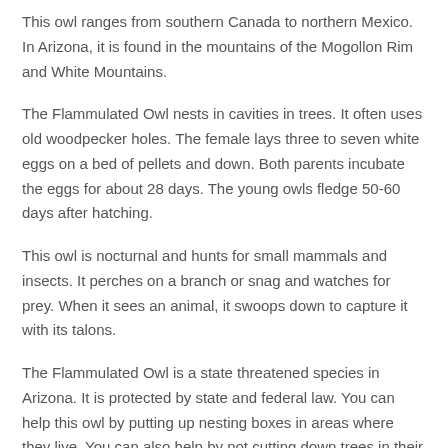This owl ranges from southern Canada to northern Mexico. In Arizona, it is found in the mountains of the Mogollon Rim and White Mountains.
The Flammulated Owl nests in cavities in trees. It often uses old woodpecker holes. The female lays three to seven white eggs on a bed of pellets and down. Both parents incubate the eggs for about 28 days. The young owls fledge 50-60 days after hatching.
This owl is nocturnal and hunts for small mammals and insects. It perches on a branch or snag and watches for prey. When it sees an animal, it swoops down to capture it with its talons.
The Flammulated Owl is a state threatened species in Arizona. It is protected by state and federal law. You can help this owl by putting up nesting boxes in areas where they live. You can also help by not cutting down trees in their habitat.